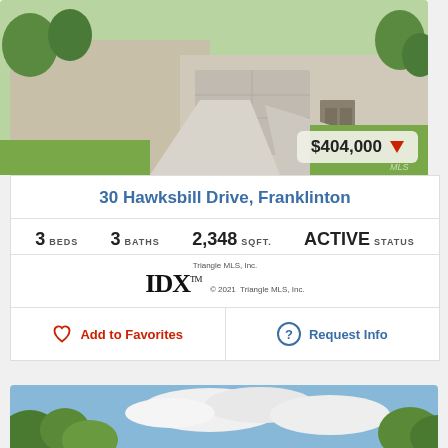[Figure (photo): Exterior photo of a single-family home with a long concrete driveway, two-car garage, green lawn and trees. Price badge shows $404,000 with a red downward arrow.]
30 Hawksbill Drive, Franklinton
3 BEDS   3 BATHS   2,348 SQFT.   ACTIVE STATUS
[Figure (logo): Triangle MLS, Inc. IDX logo with copyright 2021 Triangle MLS, Inc.]
Add to Favorites
Request Info
[Figure (photo): Outdoor photo showing green trees against a partly cloudy blue sky.]